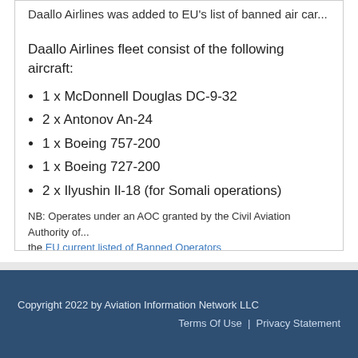Daallo Airlines was added to EU's list of banned air car...
Daallo Airlines fleet consist of the following aircraft:
1 x McDonnell Douglas DC-9-32
2 x Antonov An-24
1 x Boeing 757-200
1 x Boeing 727-200
2 x Ilyushin Il-18 (for Somali operations)
NB: Operates under an AOC granted by the Civil Aviation Authority of... the EU current listed of Banned Operators
Copyright 2022 by Aviation Information Network LLC | Terms Of Use | Privacy Statement